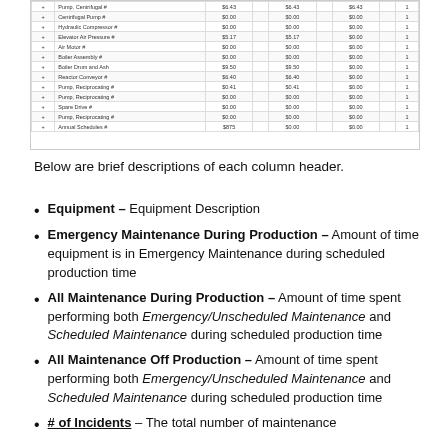[Figure (table-as-image): Partial view of a data table showing equipment rows with columns for various maintenance metrics. Rows include entries like Pump, Centrifugal Pump, Hydraulic Compressor, etc. with numeric values in columns.]
Below are brief descriptions of each column header.
Equipment – Equipment Description
Emergency Maintenance During Production – Amount of time equipment is in Emergency Maintenance during scheduled production time
All Maintenance During Production – Amount of time spent performing both Emergency/Unscheduled Maintenance and Scheduled Maintenance during scheduled production time
All Maintenance Off Production – Amount of time spent performing both Emergency/Unscheduled Maintenance and Scheduled Maintenance during scheduled production time
# of Incidents – The total number of maintenance